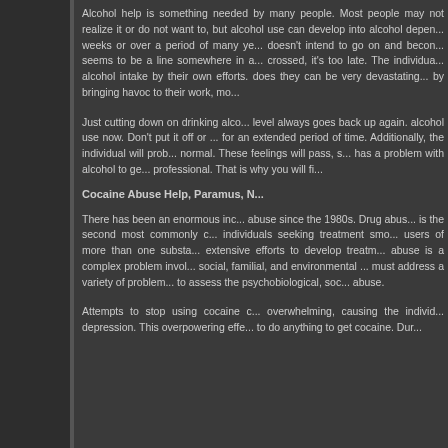Alcohol help is something needed by many people. Most people may not realize it or do not want to, but alcohol use can develop into alcohol dependence within weeks or over a period of many years. No one doesn't intend to go on and become addicted, but there seems to be a line somewhere in alcohol use, that once crossed, it's too late. The individual cannot control alcohol intake by their own efforts. The things alcohol does they can be very devastating to an individual by bringing havoc to their work, mo...
Just cutting down on drinking alcohol doesn't work, the level always goes back up again. You must stop your alcohol use now. Don't put it off or make excuses to wait for an extended period of time before stopping. Additionally, the individual will probably feel worse than normal. These feelings will pass, s... has a problem with alcohol to ge... professional. That is why you will fi...
Cocaine Abuse Help, Paramus, N...
There has been an enormous inc... abuse since the 1980s. Drug abus... is the second most commonly c... individuals seeking treatment smo... users of more than one substa... extensive efforts to develop treatm... abuse is a complex problem invol... social, familial, and environmental ... must address a variety of problem... to assess the psychobiological, soc... abuse.
Attempts to stop using cocaine c... overwhelming, causing the individ... depression. This overpowering effe... to do anything to get cocaine. Dur...